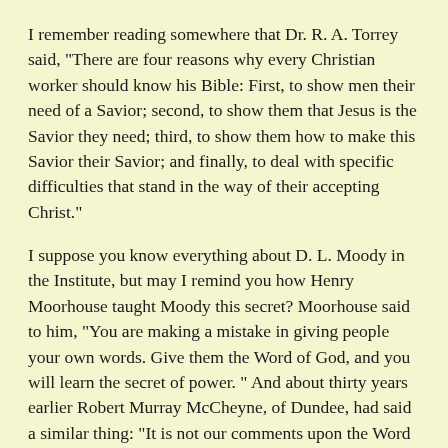I remember reading somewhere that Dr. R. A. Torrey said, "There are four reasons why every Christian worker should know his Bible: First, to show men their need of a Savior; second, to show them that Jesus is the Savior they need; third, to show them how to make this Savior their Savior; and finally, to deal with specific difficulties that stand in the way of their accepting Christ."
I suppose you know everything about D. L. Moody in the Institute, but may I remind you how Henry Moorhouse taught Moody this secret? Moorhouse said to him, "You are making a mistake in giving people your own words. Give them the Word of God, and you will learn the secret of power. " And about thirty years earlier Robert Murray McCheyne, of Dundee, had said a similar thing: "It is not our comments upon the Word that bring life; it is the Word itself." Our comments are like the feathers of an arrow which guide the arrow of the Word to its mark, but it is the Word itself that gets home.
A Personal Testimony